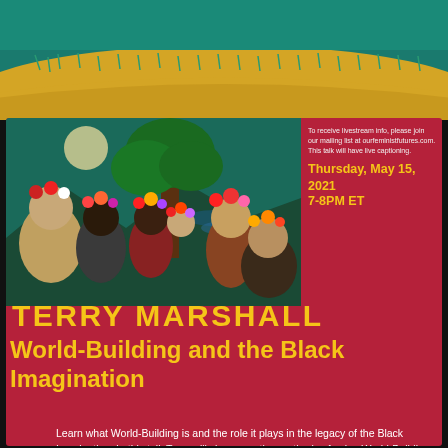[Figure (illustration): Top decorative illustration with teal/green background and golden yellow curved band, depicting a stylized landscape with grass elements]
[Figure (photo): Group photo of diverse people wearing colorful flower crowns and festive clothing, set against a fantasy nature background with peacock feathers and trees]
To receive livestream info, please join our mailing list at ourfeministfutures.com. This talk will have live captioning.
Thursday, May 15, 2021
7-8PM ET
TERRY MARSHALL
World-Building and the Black Imagination
Learn what World-Building is and the role it plays in the legacy of the Black Imagination. In this talk Terry will share creative methods of using World-Building, Storytelling, and Experience Design to develop vision, strategies, experiments, and practices th...